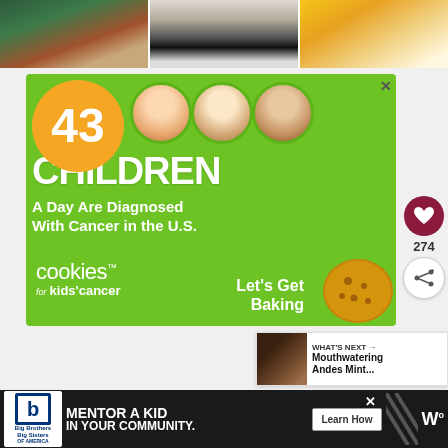[Figure (photo): Three food photos strip at top: green baking dish with food, cast iron skillet on white surface, orange cheesy casserole dish]
[Figure (infographic): Cookies for Kids Cancer advertisement on green background. Large orange circle with '43', three children photos, text: '43 CHILDREN A Day Are Diagnosed With Cancer in the U.S.' and 'cookies for kids cancer' branding with 'Let's Get Baking' call to action and cookie illustration]
[Figure (infographic): Big Brothers Big Sisters advertisement on black background: 'MENTOR A KID IN YOUR COMMUNITY.' with Learn How button]
274
WHAT'S NEXT → Mouthwatering Andes Mint...